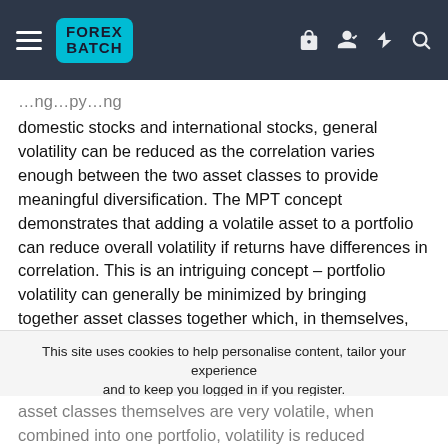FOREX BATCH
domestic stocks and international stocks, general volatility can be reduced as the correlation varies enough between the two asset classes to provide meaningful diversification. The MPT concept demonstrates that adding a volatile asset to a portfolio can reduce overall volatility if returns have differences in correlation. This is an intriguing concept – portfolio volatility can generally be minimized by bringing together asset classes together which, in themselves, have returns with higher volatility.
the best Free Forex Signals
This site uses cookies to help personalise content, tailor your experience and to keep you logged in if you register.
By continuing to use this site, you are consenting to our use of cookies.
asset classes themselves are very volatile, when combined into one portfolio, volatility is reduced